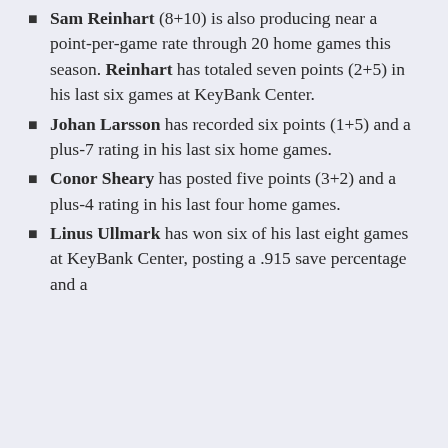Sam Reinhart (8+10) is also producing near a point-per-game rate through 20 home games this season. Reinhart has totaled seven points (2+5) in his last six games at KeyBank Center.
Johan Larsson has recorded six points (1+5) and a plus-7 rating in his last six home games.
Conor Sheary has posted five points (3+2) and a plus-4 rating in his last four home games.
Linus Ullmark has won six of his last eight games at KeyBank Center, posting a .915 save percentage and a